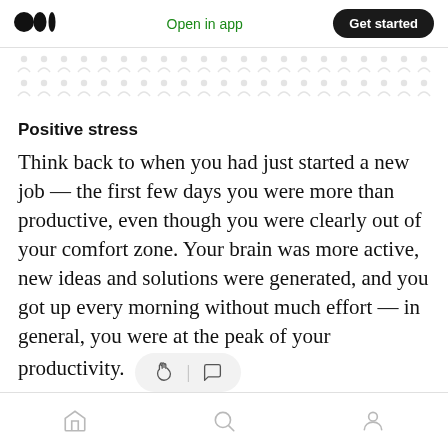Medium logo | Open in app | Get started
[Figure (illustration): Two rows of faint person/ribbon icons as a decorative banner]
Positive stress
Think back to when you had just started a new job — the first few days you were more than productive, even though you were clearly out of your comfort zone. Your brain was more active, new ideas and solutions were generated, and you got up every morning without much effort — in general, you were at the peak of your productivity.
Home | Search | Profile